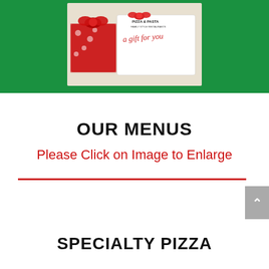[Figure (photo): Photo of gift cards and wrapped presents on a green background with a 'Pizza & Pasta family style restaurants' logo and 'a gift for you' script text on a white card with a red ribbon bow]
OUR MENUS
Please Click on Image to Enlarge
SPECIALTY PIZZA